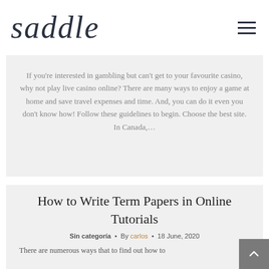saddle
If you're interested in gambling but can't get to your favourite casino, why not play live casino online? There are many ways to enjoy a game at home and save travel expenses and time. And, you can do it even you don't know how! Follow these guidelines to begin. Choose the best site. In Canada,…
How to Write Term Papers in Online Tutorials
Sin categoría • By carlos • 18 June, 2020
There are numerous ways that to find out how to